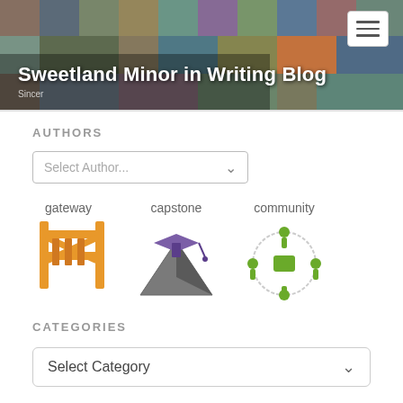[Figure (photo): Mosaic photo collage header banner with various people and designs]
Sweetland Minor in Writing Blog
AUTHORS
[Figure (other): Select Author dropdown box]
[Figure (infographic): Three icons: gateway (orange wooden gate), capstone (graduation cap on pyramid), community (group of figures in circle)]
CATEGORIES
[Figure (other): Select Category dropdown box]